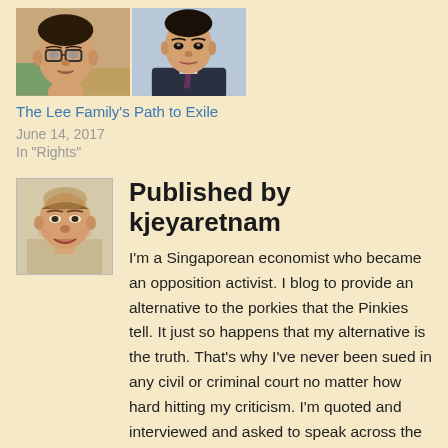[Figure (photo): Two headshot photos side by side: a man with glasses on the left, a man in a suit on the right]
The Lee Family's Path to Exile
June 14, 2017
In "Rights"
[Figure (photo): Author avatar: headshot of a smiling man]
Published by kjeyaretnam
I'm a Singaporean economist who became an opposition activist. I blog to provide an alternative to the porkies that the Pinkies tell. It just so happens that my alternative is the truth. That's why I've never been sued in any civil or criminal court no matter how hard hitting my criticism. I'm quoted and interviewed and asked to speak across the world but largely censored in Singapore in an effort to silence my political opinions. The left hate me because they